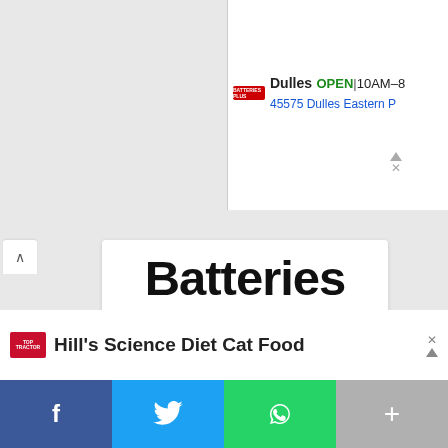[Figure (screenshot): Top-right ad panel showing Batteries Plus Bulbs Dulles store: OPEN 10AM-8, address 45575 Dulles Eastern P]
[Figure (logo): Batteries Plus logo with large bold text 'Batteries' on top line and 'Plus' with green plus sign and orange C-shaped arc with TM mark]
Batteries Plus
Batteries Plus Bulbs
Ashburn 8AM–7PM
[Figure (screenshot): Hill's Science Diet Cat Food advertisement with Tractor Supply logo]
[Figure (other): Social share bar with Facebook, Twitter, WhatsApp and more buttons]